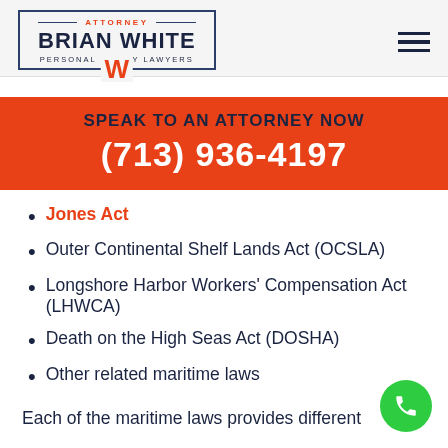[Figure (logo): Attorney Brian White Personal Injury Lawyers logo with W emblem]
SPEAK TO AN ATTORNEY NOW
(713) 936-4197
Jones Act
Outer Continental Shelf Lands Act (OCSLA)
Longshore Harbor Workers' Compensation Act (LHWCA)
Death on the High Seas Act (DOSHA)
Other related maritime laws
Each of the maritime laws provides different